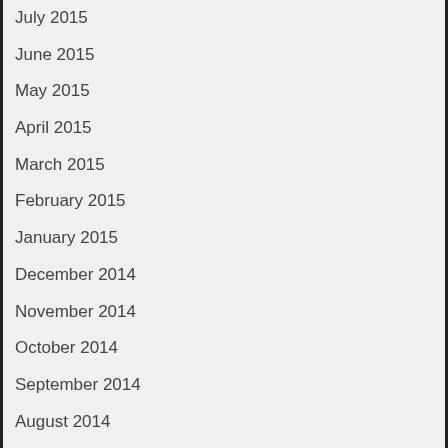July 2015
June 2015
May 2015
April 2015
March 2015
February 2015
January 2015
December 2014
November 2014
October 2014
September 2014
August 2014
July 2014
June 2014
May 2014
April 2014